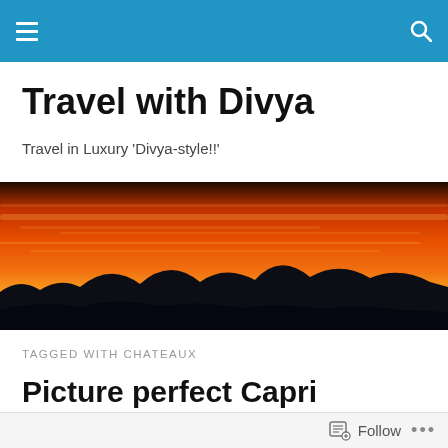Travel with Divya — navigation bar
Travel with Divya
Travel in Luxury 'Divya-style!!'
[Figure (photo): Dramatic sunset over mountain silhouettes with vivid orange, red and yellow sky]
TAGGED WITH CHATEAUX
Picture perfect Capri
Follow  •••